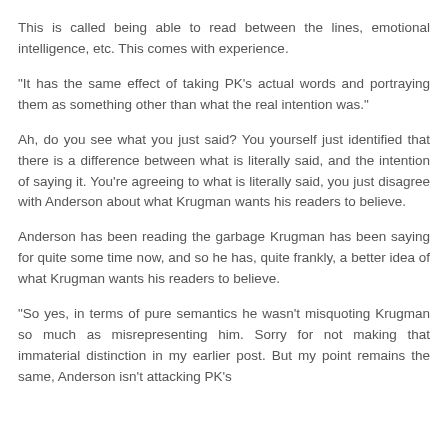This is called being able to read between the lines, emotional intelligence, etc. This comes with experience.
"It has the same effect of taking PK's actual words and portraying them as something other than what the real intention was."
Ah, do you see what you just said? You yourself just identified that there is a difference between what is literally said, and the intention of saying it. You're agreeing to what is literally said, you just disagree with Anderson about what Krugman wants his readers to believe.
Anderson has been reading the garbage Krugman has been saying for quite some time now, and so he has, quite frankly, a better idea of what Krugman wants his readers to believe.
"So yes, in terms of pure semantics he wasn't misquoting Krugman so much as misrepresenting him. Sorry for not making that immaterial distinction in my earlier post. But my point remains the same, Anderson isn't attacking PK's